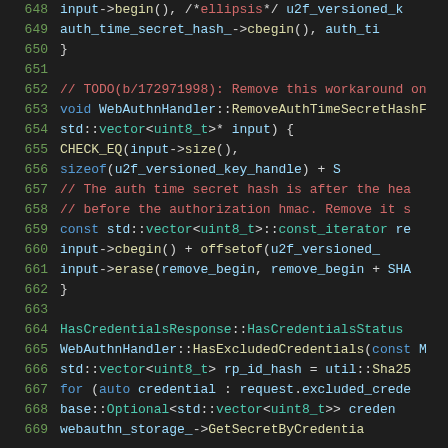[Figure (screenshot): Source code viewer showing C++ code lines 648-669 with syntax highlighting on dark background. Line numbers in green on left, code in various colors (blue keywords, teal types, red comments, white/gray default text).]